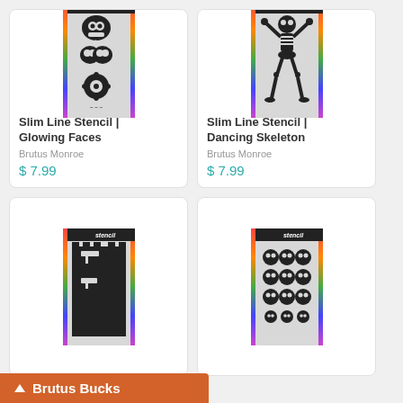[Figure (photo): Slim Line Stencil product image - Glowing Faces stencil showing sugar skull face designs]
Slim Line Stencil | Glowing Faces
Brutus Monroe
$ 7.99
[Figure (photo): Slim Line Stencil product image - Dancing Skeleton stencil showing skeleton figure]
Slim Line Stencil | Dancing Skeleton
Brutus Monroe
$ 7.99
[Figure (photo): Slim Line Stencil product image - partially visible stencil with castle/building design]
[Figure (photo): Slim Line Stencil product image - skulls pattern stencil showing rows of skull designs]
Brutus Bucks